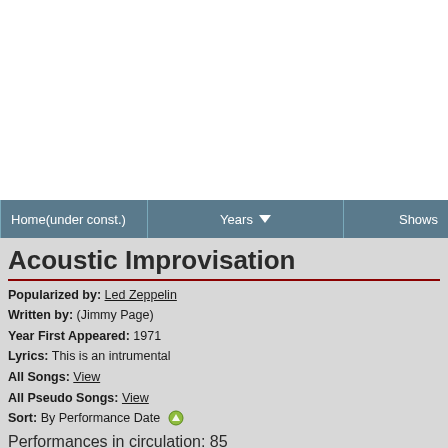Home(under const.) | Years | Shows
Acoustic Improvisation
Popularized by: Led Zeppelin
Written by: (Jimmy Page)
Year First Appeared: 1971
Lyrics: This is an intrumental
All Songs: View
All Pseudo Songs: View
Sort: By Performance Date
Performances in circulation: 85
Prior Song   6 of 377   Next Song